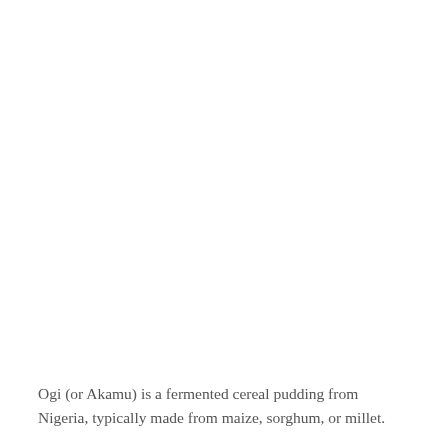Ogi (or Akamu) is a fermented cereal pudding from Nigeria, typically made from maize, sorghum, or millet.